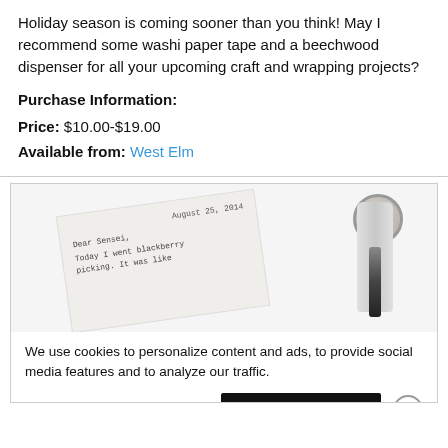Holiday season is coming sooner than you think! May I recommend some washi paper tape and a beechwood dispenser for all your upcoming craft and wrapping projects?
Purchase Information:
Price: $10.00-$19.00
Available from: West Elm
[Figure (photo): A handwritten note card rotated at an angle showing 'August 25, 2014', 'Dear Sensei', 'Today I went blackberry...' text, alongside a tape dispenser with roll of tape.]
We use cookies to personalize content and ads, to provide social media features and to analyze our traffic.